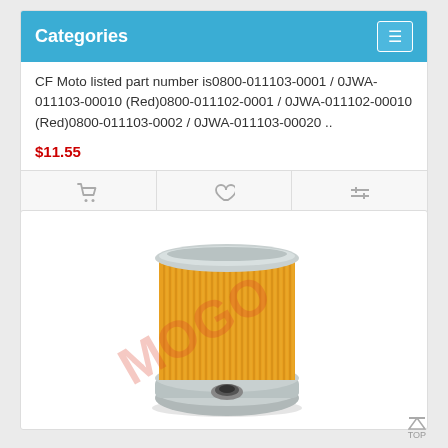Categories
CF Moto listed part number is0800-011103-0001 / 0JWA-011103-00010 (Red)0800-011102-0001 / 0JWA-011102-00010 (Red)0800-011103-0002 / 0JWA-011103-00020 ..
$11.55
[Figure (photo): Yellow oil filter element with metal end caps, cylindrical shape with pleated filter media, watermarked product photo]